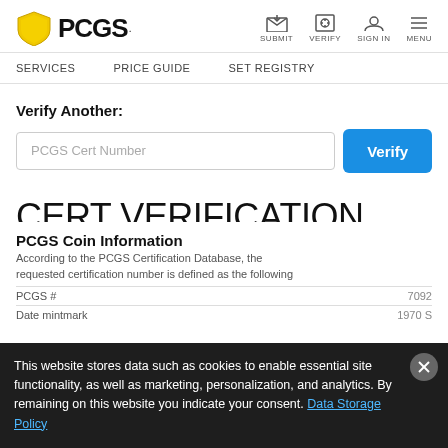PCGS | SUBMIT | VERIFY | SIGN IN | MENU
SERVICES | PRICE GUIDE | SET REGISTRY
Verify Another:
PCGS Cert Number [input field] Verify [button]
CERT VERIFICATION #28167242
PCGS Coin Information
According to the PCGS Certification Database, the requested certification number is defined as the following
PCGS #	7092
Date mintmark	1970 S
This website stores data such as cookies to enable essential site functionality, as well as marketing, personalization, and analytics. By remaining on this website you indicate your consent. Data Storage Policy